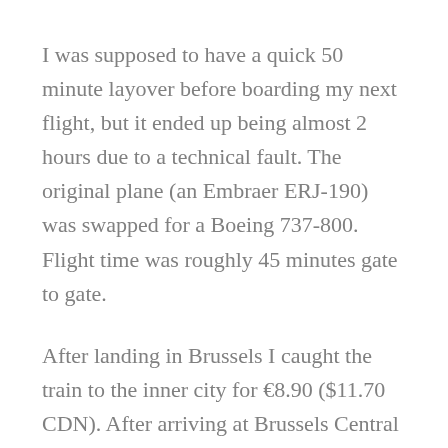I was supposed to have a quick 50 minute layover before boarding my next flight, but it ended up being almost 2 hours due to a technical fault. The original plane (an Embraer ERJ-190) was swapped for a Boeing 737-800. Flight time was roughly 45 minutes gate to gate.
After landing in Brussels I caught the train to the inner city for €8.90 ($11.70 CDN). After arriving at Brussels Central Station I visited St. Michael and St Gudula Cathedral, a Roman Catholic church in Gothic architecture style. The Cathedral